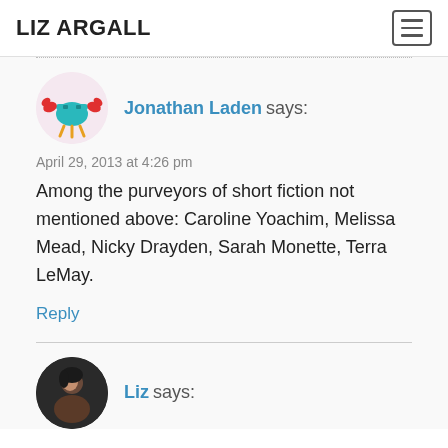LIZ ARGALL
Jonathan Laden says:
April 29, 2013 at 4:26 pm
Among the purveyors of short fiction not mentioned above: Caroline Yoachim, Melissa Mead, Nicky Drayden, Sarah Monette, Terra LeMay.
Reply
Liz says: